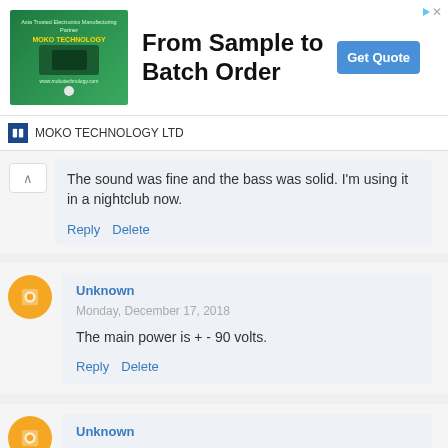[Figure (screenshot): Ad banner for MOKO TECHNOLOGY LTD with text 'From Sample to Batch Order' and 'Get Quote' button]
MOKO TECHNOLOGY LTD
The sound was fine and the bass was solid. I'm using it in a nightclub now.
Reply   Delete
Unknown
Monday, December 17, 2018
The main power is + - 90 volts.
Reply   Delete
Unknown